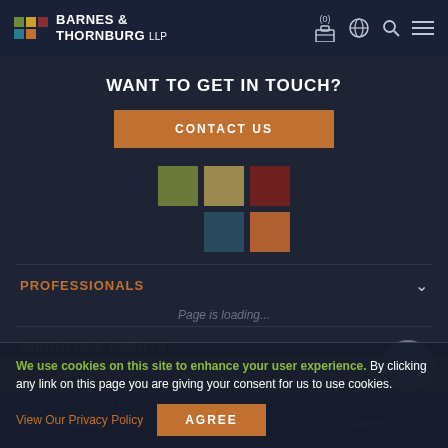BARNES & THORNBURG LLP
WANT TO GET IN TOUCH?
CONTACT US
[Figure (logo): Barnes & Thornburg colored squares logo grid - olive, tan, dark red top row; empty, teal, russet bottom row]
PROFESSIONALS
Page is loading...
INSIGHTS & EVENTS
We use cookies on this site to enhance your user experience. By clicking any link on this page you are giving your consent for us to use cookies.
View Our Privacy Policy
AGREE
Trending | Share | Connect